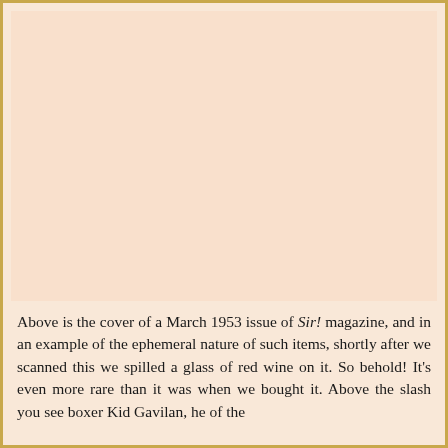[Figure (other): Large blank/peach-colored area representing the cover image of a March 1953 issue of Sir! magazine (image area only, content not visible in this crop)]
Above is the cover of a March 1953 issue of Sir! magazine, and in an example of the ephemeral nature of such items, shortly after we scanned this we spilled a glass of red wine on it. So behold! It's even more rare than it was when we bought it. Above the slash you see boxer Kid Gavilan, he of the